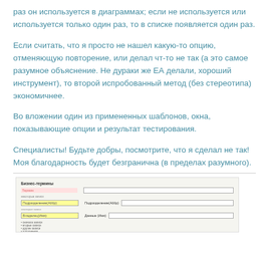раз он используется в диаграммах; если не используется или используется только один раз, то в списке появляется один раз.
Если считать, что я просто не нашел какую-то опцию, отменяющую повторение, или делал чт-то не так (а это самое разумное объяснение. Не дураки же ЕА делали, хороший инструмент), то второй испробованный метод (без стереотипа) экономичнее.
Во вложении один из примененных шаблонов, окна, показывающие опции и результат тестирования.
Специалисты! Будьте добры, посмотрите, что я сделал не так!
Моя благодарность будет безгранична (в пределах разумного).
[Figure (screenshot): Screenshot of a business template form with fields, some highlighted in yellow, showing options and testing results.]